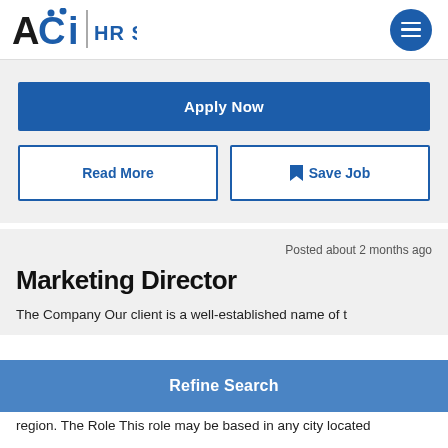[Figure (logo): ACI HR Solutions logo with blue circle menu button]
Apply Now
Read More
Save Job
Posted about 2 months ago
Marketing Director
The Company Our client is a well-established name of t...
Refine Search
region. The Role This role may be based in any city located